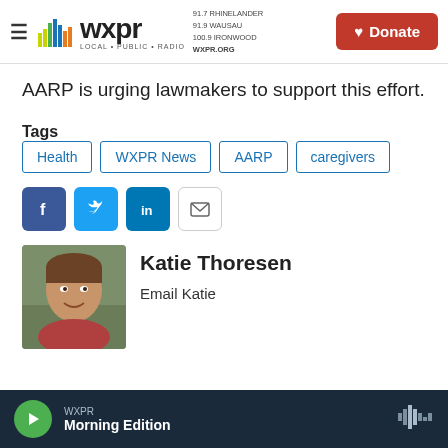WXPR — 91.7 RHINELANDER / 91.9 WAUSAU / 100.9 IRONWOOD — WXPR.ORG — LOCAL · PUBLIC · RADIO — Donate
AARP is urging lawmakers to support this effort.
Tags: Health | WXPR News | AARP | caregivers
[Figure (infographic): Social sharing buttons: Facebook, Twitter, LinkedIn, Email]
Katie Thoresen
Email Katie
WXPR Morning Edition (player bar)